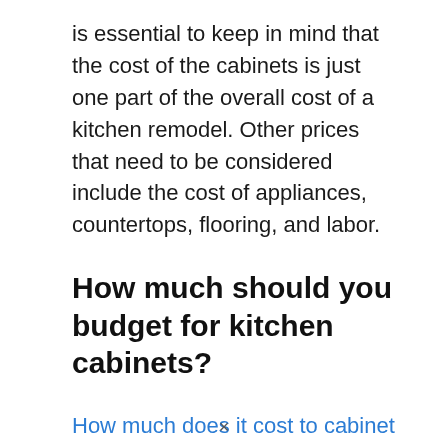is essential to keep in mind that the cost of the cabinets is just one part of the overall cost of a kitchen remodel. Other prices that need to be considered include the cost of appliances, countertops, flooring, and labor.
How much should you budget for kitchen cabinets?
How much does it cost to cabinet a kitchen? When it comes to kitchen cabinets, the sky is the limit in terms of
×